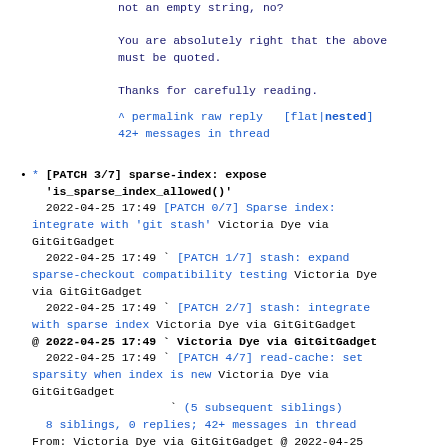not an empty string, no?

You are absolutely right that the above must be quoted.

Thanks for carefully reading.
^ permalink raw reply   [flat|nested]
42+ messages in thread
* [PATCH 3/7] sparse-index: expose 'is_sparse_index_allowed()'
  2022-04-25 17:49 [PATCH 0/7] Sparse index: integrate with 'git stash' Victoria Dye via GitGitGadget
  2022-04-25 17:49 ` [PATCH 1/7] stash: expand sparse-checkout compatibility testing Victoria Dye via GitGitGadget
  2022-04-25 17:49 ` [PATCH 2/7] stash: integrate with sparse index Victoria Dye via GitGitGadget
  @ 2022-04-25 17:49 ` Victoria Dye via GitGitGadget
  2022-04-25 17:49 ` [PATCH 4/7] read-cache: set sparsity when index is new Victoria Dye via GitGitGadget
                    ` (5 subsequent siblings)
  8 siblings, 0 replies; 42+ messages in thread
From: Victoria Dye via GitGitGadget @ 2022-04-25 17:49 UTC (permalink / raw)
  To: git; +Cc: derrickstolee, newren, gitster, Victoria Dye, Victoria Dye